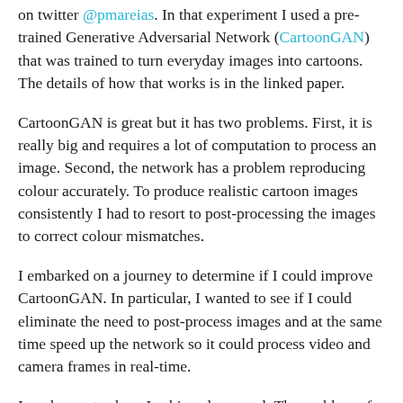on twitter @pmareias. In that experiment I used a pre-trained Generative Adversarial Network (CartoonGAN) that was trained to turn everyday images into cartoons. The details of how that works is in the linked paper.
CartoonGAN is great but it has two problems. First, it is really big and requires a lot of computation to process an image. Second, the network has a problem reproducing colour accurately. To produce realistic cartoon images consistently I had to resort to post-processing the images to correct colour mismatches.
I embarked on a journey to determine if I could improve CartoonGAN. In particular, I wanted to see if I could eliminate the need to post-process images and at the same time speed up the network so it could process video and camera frames in real-time.
I am happy to share I achieved my goal. The problem of speed boiled down to generating a smaller and more efficient network. The smaller the network the fewer instructions required to process the inputs (i.e. the image